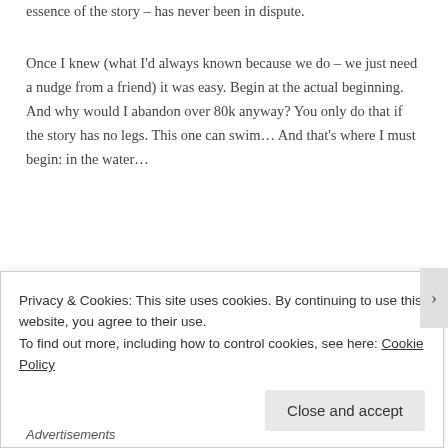essence of the story – has never been in dispute.
Once I knew (what I'd always known because we do – we just need a nudge from a friend) it was easy. Begin at the actual beginning. And why would I abandon over 80k anyway? You only do that if the story has no legs. This one can swim… And that's where I must begin: in the water…
[Figure (photo): Dark grey/brown textured surface, partial view of an image at the bottom of the content area]
Privacy & Cookies: This site uses cookies. By continuing to use this website, you agree to their use.
To find out more, including how to control cookies, see here: Cookie Policy
Close and accept
Advertisements